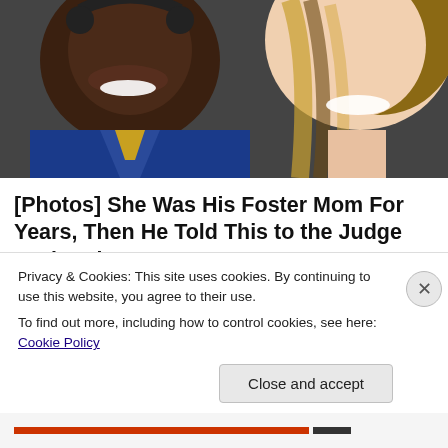[Figure (photo): Two smiling people close-up: a young Black man on the left wearing a blue and gold athletic jacket, and a young white woman with long highlighted hair on the right. Both are smiling broadly.]
[Photos] She Was His Foster Mom For Years, Then He Told This to the Judge During the...
12Up
[Figure (photo): Partial view of a second article thumbnail showing two people, partially obscured by the cookie banner.]
Privacy & Cookies: This site uses cookies. By continuing to use this website, you agree to their use.
To find out more, including how to control cookies, see here: Cookie Policy
Close and accept